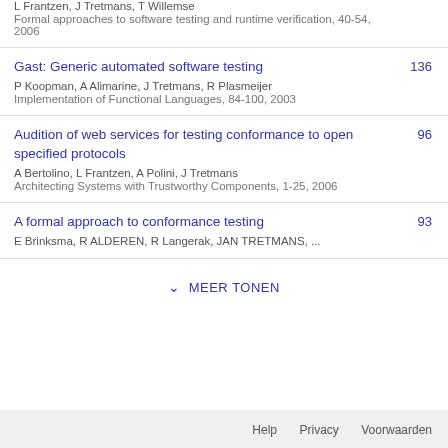L Frantzen, J Tretmans, T Willemse
Formal approaches to software testing and runtime verification, 40-54, 2006
Gast: Generic automated software testing
P Koopman, A Alimarine, J Tretmans, R Plasmeijer
Implementation of Functional Languages, 84-100, 2003
Audition of web services for testing conformance to open specified protocols
A Bertolino, L Frantzen, A Polini, J Tretmans
Architecting Systems with Trustworthy Components, 1-25, 2006
A formal approach to conformance testing
E Brinksma, R ALDEREN, R Langerak, JAN TRETMANS, ...
MEER TONEN
Help   Privacy   Voorwaarden